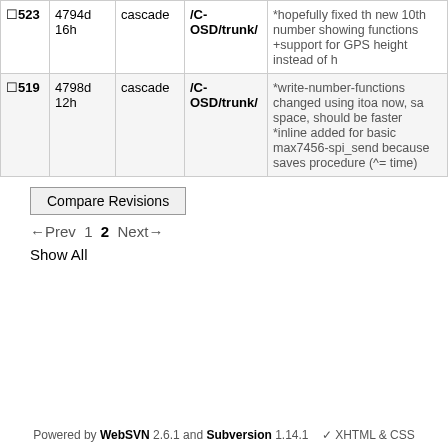|  | Rev | Age | Author | Path | Log Message |
| --- | --- | --- | --- | --- | --- |
| ☐523 | 4794d 16h | cascade | /C-OSD/trunk/ | *hopefully fixed th new 10th number showing functions +support for GPS height instead of h |
| ☐519 | 4798d 12h | cascade | /C-OSD/trunk/ | *write-number-functions changed using itoa now, sa space, should be faster
*inline added for basic max7456-spi_send because saves procedure (^= time) |
Compare Revisions
←Prev  1  2  Next→
Show All
Powered by WebSVN 2.6.1 and Subversion 1.14.1  ✓ XHTML & CSS